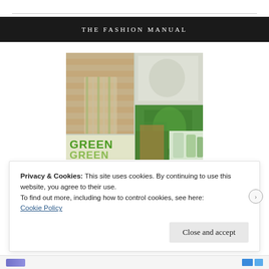THE FASHION MANUAL
[Figure (photo): Fashion photo collage showing green-themed clothing and accessories: a striped green halter dress worn by a woman, green metallic clothing items, a woman in green athleisure wear, green lifestyle products, and text reading GREEN GREEN in bold green letters.]
Privacy & Cookies: This site uses cookies. By continuing to use this website, you agree to their use.
To find out more, including how to control cookies, see here: Cookie Policy
Close and accept